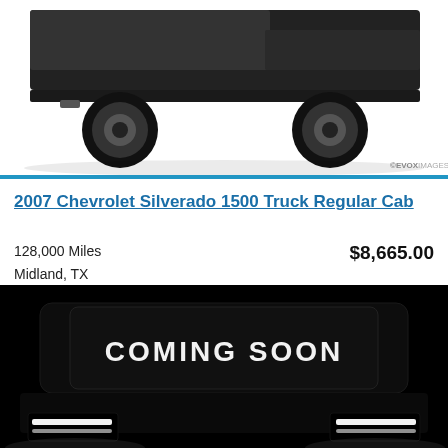[Figure (photo): Partial view of a white/silver pickup truck (bottom portion, rear wheels and undercarriage visible) on white background. EVOX IMAGES watermark in bottom right.]
2007 Chevrolet Silverado 1500 Truck Regular Cab
128,000 Miles
Midland, TX
$8,665.00
[Figure (photo): Dark dramatic photo of a truck shot from rear in near-total darkness, with 'COMING SOON' text glowing on the rear windshield, and bright headlights visible at the bottom.]